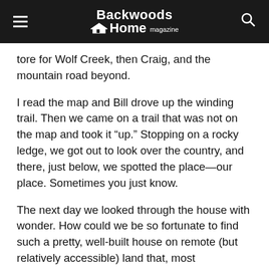Backwoods Home magazine
tore for Wolf Creek, then Craig, and the mountain road beyond.
I read the map and Bill drove up the winding trail. Then we came on a trail that was not on the map and took it “up.” Stopping on a rocky ledge, we got out to look over the country, and there, just below, we spotted the place—our place. Sometimes you just know.
The next day we looked through the house with wonder. How could we be so fortunate to find such a pretty, well-built house on remote (but relatively accessible) land that, most importantly, we could afford? Then we received the answer: there had been a divorce and, in the process, the spring that supplies the house had frozen.